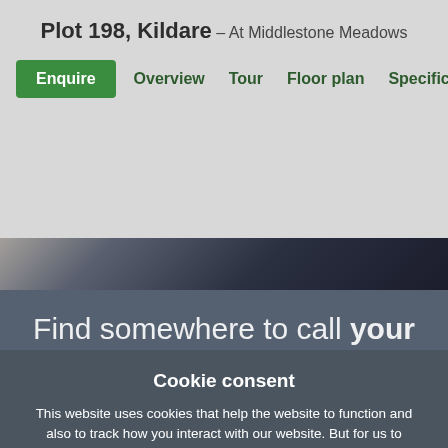Plot 198, Kildare – At Middlestone Meadows
Enquire  Overview  Tour  Floor plan  Specification
[Figure (photo): Partial photo of a person wearing a dark navy jacket, cropped, visible in the upper middle portion of the page.]
Find somewhere to call your own
Cookie consent
This website uses cookies that help the website to function and also to track how you interact with our website. But for us to provide the best user experience, enable the specific cookies from Settings, and click on Accept. Find out more about our cookie policy.
Preferences  Accept All